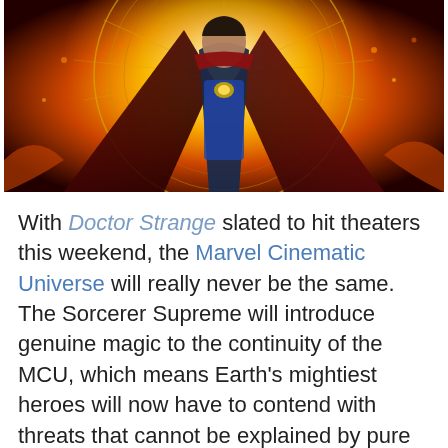[Figure (photo): Promotional image of Doctor Strange character wearing a red cape and blue costume with yellow amulet, surrounded by fiery and geometric mystical effects in the background]
With Doctor Strange slated to hit theaters this weekend, the Marvel Cinematic Universe will really never be the same. The Sorcerer Supreme will introduce genuine magic to the continuity of the MCU, which means Earth's mightiest heroes will now have to contend with threats that cannot be explained by pure science. It's a brave new world for Marvel fans, and one that is now firmly rooted in the exotic world of mysticism.